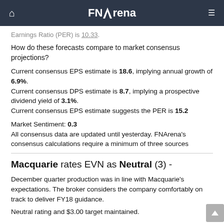FNArena
Earnings Ratio (PER) is 10.33.
How do these forecasts compare to market consensus projections?
Current consensus EPS estimate is 18.6, implying annual growth of 6.9%.
Current consensus DPS estimate is 8.7, implying a prospective dividend yield of 3.1%.
Current consensus EPS estimate suggests the PER is 15.2
Market Sentiment: 0.3
All consensus data are updated until yesterday. FNArena's consensus calculations require a minimum of three sources
Macquarie rates EVN as Neutral (3) -
December quarter production was in line with Macquarie's expectations. The broker considers the company comfortably on track to deliver FY18 guidance.
Neutral rating and $3.00 target maintained.